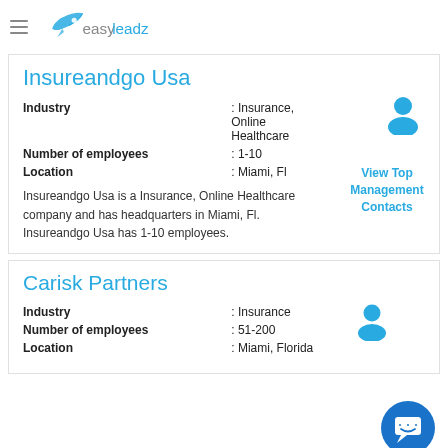easy leadz
Insureandgo Usa
| Industry | : Insurance, Online Healthcare |
| Number of employees | : 1-10 |
| Location | : Miami, Fl |
Insureandgo Usa is a Insurance, Online Healthcare company and has headquarters in Miami, Fl. Insureandgo Usa has 1-10 employees.
Carisk Partners
| Industry | : Insurance |
| Number of employees | : 51-200 |
| Location | : Miami, Florida |